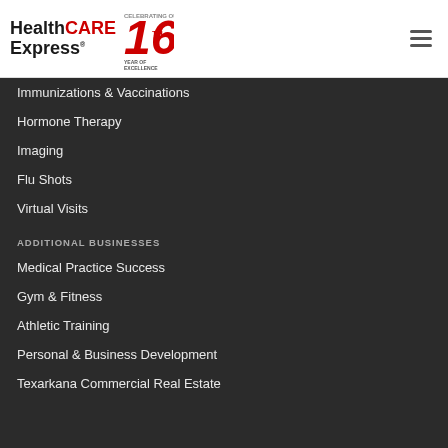[Figure (logo): HealthCARE Express logo with red '16th Year of Excellence' badge and hamburger menu icon]
Immunizations & Vaccinations
Hormone Therapy
Imaging
Flu Shots
Virtual Visits
ADDITIONAL BUSINESSES
Medical Practice Success
Gym & Fitness
Athletic Training
Personal & Business Development
Texarkana Commercial Real Estate